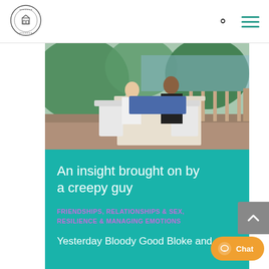[Figure (logo): Circular logo with castle/house icon and text around the border]
[Figure (photo): Two people, a woman and a man, sitting at a white table on a tropical outdoor deck working on laptops. Lush greenery and ocean visible in background.]
An insight brought on by a creepy guy
FRIENDSHIPS, RELATIONSHIPS & SEX, RESILIENCE & MANAGING EMOTIONS
Yesterday Bloody Good Bloke and